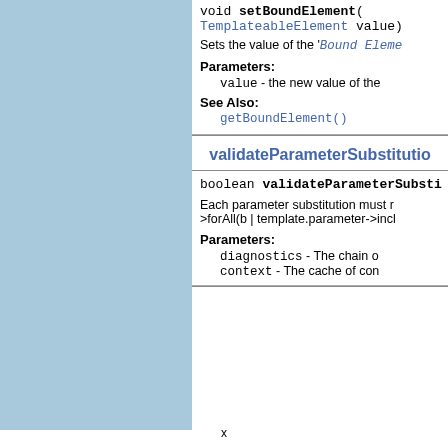void setBoundElement(TemplateableElement value)
Sets the value of the 'Bound Eleme...
Parameters:
value - the new value of the...
See Also:
getBoundElement()
validateParameterSubstitutio...
boolean validateParameterSubsti...
Each parameter substitution must r... >forAll(b | template.parameter->incl...
Parameters:
diagnostics - The chain o...
context - The cache of con...
x